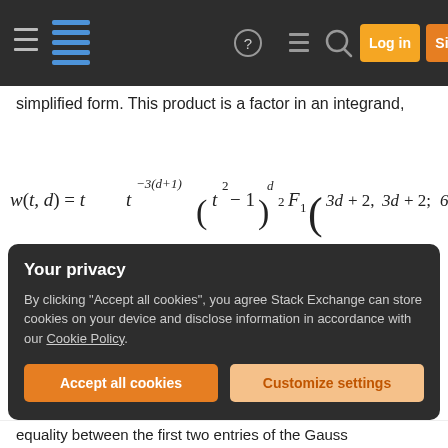[Figure (screenshot): Stack Exchange navigation bar with hamburger menu, logo, help icon, chat icon, search icon, Log in button, Sign up button]
simplified form. This product is a factor in an integrand,
I am trying to integrate over t ∈ [0, 1], with d being a free parameter, the positive integer values of which are the ones of (quantum-information-theoretic, https://arxiv.org/abs/1610.01410) interest.
Your privacy
By clicking "Accept all cookies", you agree Stack Exchange can store cookies on your device and disclose information in accordance with our Cookie Policy.
Accept all cookies    Customize settings
equality between the first two entries of the Gauss